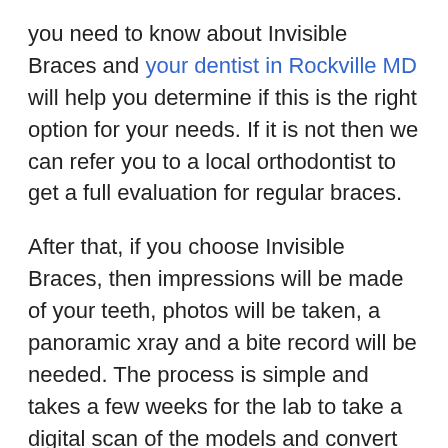you need to know about Invisible Braces and your dentist in Rockville MD will help you determine if this is the right option for your needs. If it is not then we can refer you to a local orthodontist to get a full evaluation for regular braces.
After that, if you choose Invisible Braces, then impressions will be made of your teeth, photos will be taken, a panoramic xray and a bite record will be needed. The process is simple and takes a few weeks for the lab to take a digital scan of the models and convert them to video file. The BPA free trays and custom made aligners that you will be wearing will be designed specifically for you. You will swap out those invisalign aligners every two weeks so that your teeth can be gradually moved into proper